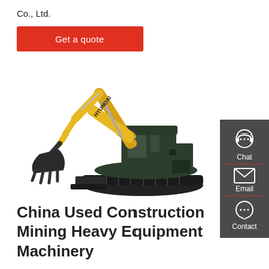Co., Ltd.
Get a quote
[Figure (photo): Hyundai tracked excavator (mini excavator) with yellow boom arm and dark cab, shown in side profile on white background]
China Used Construction Mining Heavy Equipment Machinery